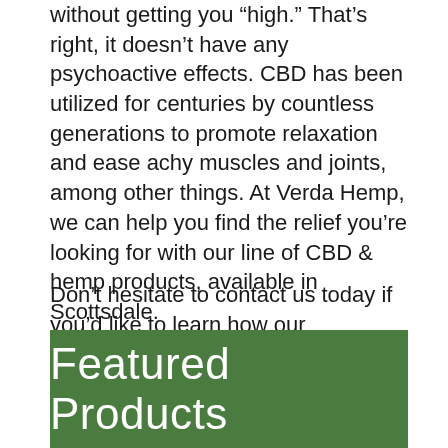without getting you “high.” That’s right, it doesn’t have any psychoactive effects. CBD has been utilized for centuries by countless generations to promote relaxation and ease achy muscles and joints, among other things. At Verda Hemp, we can help you find the relief you’re looking for with our line of CBD & hemp products, available in Scottsdale.
Don’t hesitate to contact us today if you’d like to learn how our California-grown CBD and hemp products in Scottsdale can support your overall wellness.
Featured Products